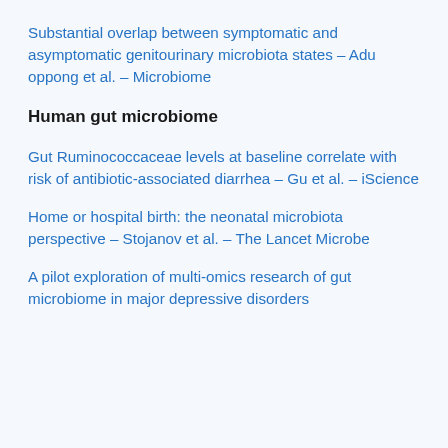Substantial overlap between symptomatic and asymptomatic genitourinary microbiota states – Adu oppong et al. – Microbiome
Human gut microbiome
Gut Ruminococcaceae levels at baseline correlate with risk of antibiotic-associated diarrhea – Gu et al. – iScience
Home or hospital birth: the neonatal microbiota perspective – Stojanov et al. – The Lancet Microbe
A pilot exploration of multi-omics research of gut microbiome in major depressive disorders